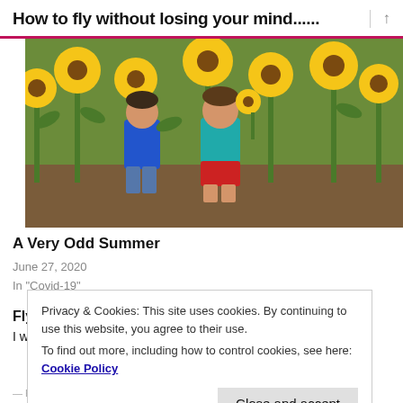How to fly without losing your mind......
[Figure (photo): Two children standing in a sunflower field, one wearing a blue shirt and one wearing a teal shirt with red shorts]
A Very Odd Summer
June 27, 2020
In "Covid-19"
Flying with kids
I was very happy to find this article yesterday on Huff Post. Then
Privacy & Cookies: This site uses cookies. By continuing to use this website, you agree to their use.
To find out more, including how to control cookies, see here: Cookie Policy
Close and accept